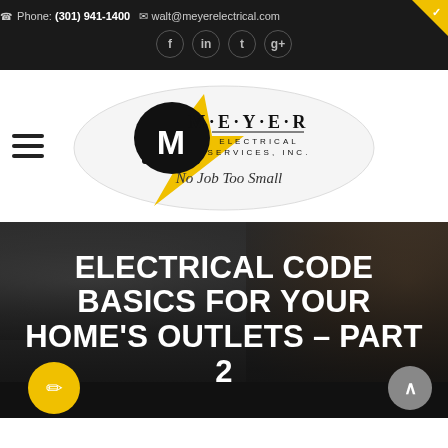Phone: (301) 941-1400  walt@meyerelectrical.com
[Figure (logo): Meyer Electrical Services, Inc. logo with yellow lightning bolt and text 'M·E·Y·E·R ELECTRICAL SERVICES, INC. No Job Too Small']
ELECTRICAL CODE BASICS FOR YOUR HOME'S OUTLETS – PART 2